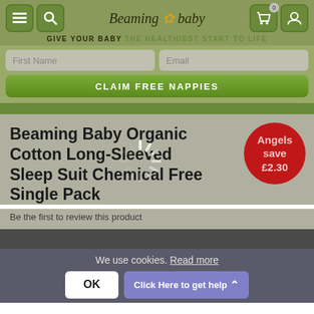Beaming baby — GIVE YOUR BABY THE HEALTHIEST START TO LIFE
First Name | Email | CLAIM FREE NAPPIES
Beaming Baby Organic Cotton Long-Sleeved Sleep Suit Chemical Free Single Pack
Be the first to review this product
[Figure (infographic): Red circular badge with text: Angels save £2.30]
[Figure (other): Loading spinner overlay on product area]
We use cookies. Read more
OK
Click Here to get help ^